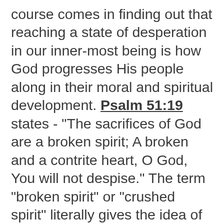course comes in finding out that reaching a state of desperation in our inner-most being is how God progresses His people along in their moral and spiritual development. Psalm 51:19 states - "The sacrifices of God are a broken spirit; A broken and a contrite heart, O God, You will not despise." The term "broken spirit" or "crushed spirit" literally gives the idea of being crushed to dust, dryness and shattering. For the believer going through this experience, it can be devastating, at first. We in American Christianity think it is our heritage to be